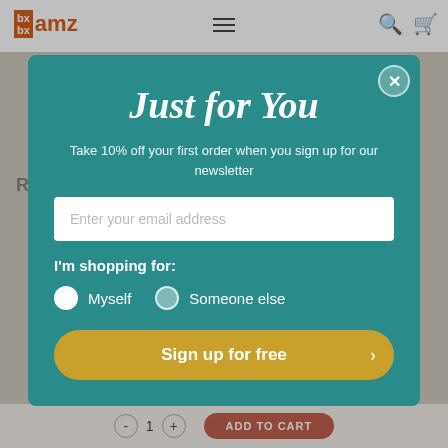[Figure (screenshot): Background website with AMZ logo, navigation icons, product page content, and ADD TO CART button at bottom]
Just for You
Take 10% off your first order when you sign up for our newsletter
Enter your email address
I'm shopping for:
Myself
Someone else
Sign up for free